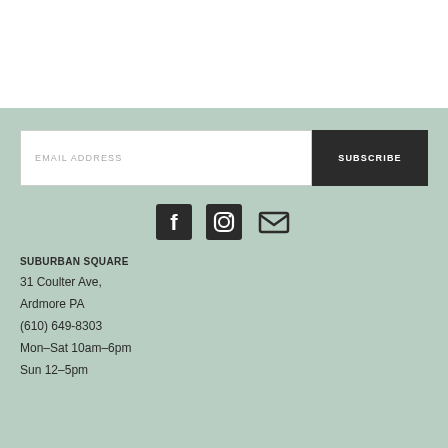EMAIL ADDRESS
SUBSCRIBE
[Figure (infographic): Row of three social media icons: Facebook, Instagram, and Email/envelope icons in dark color on sage green background]
SUBURBAN SQUARE
31 Coulter Ave,
Ardmore PA
(610) 649-8303
Mon–Sat 10am–6pm
Sun 12–5pm